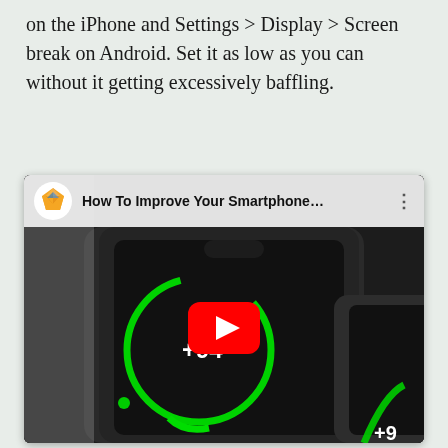on the iPhone and Settings > Display > Screen break on Android. Set it as low as you can without it getting excessively baffling.
[Figure (screenshot): YouTube video thumbnail showing a YouTube video titled 'How To Improve Your Smartphone...' with a channel icon (orange/blue gem logo). The thumbnail shows smartphone screens displaying battery charging indicators with green circles and '+94%' text, with a red YouTube play button in the center.]